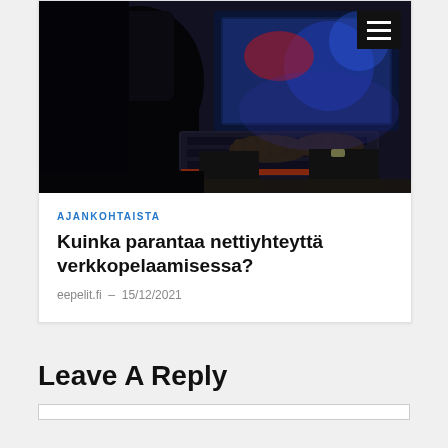[Figure (photo): Person playing on a gaming PC with colorful RGB lighting, dark background, hands on keyboard]
AJANKOHTAISTA
Kuinka parantaa nettiyhteyttä verkkopelaamisessa?
eepelit.fi - 15/12/2021
Leave A Reply